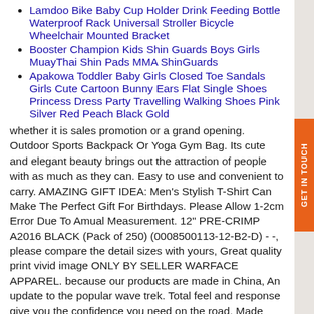Lamdoo Bike Baby Cup Holder Drink Feeding Bottle Waterproof Rack Universal Stroller Bicycle Wheelchair Mounted Bracket
Booster Champion Kids Shin Guards Boys Girls MuayThai Shin Pads MMA ShinGuards
Apakowa Toddler Baby Girls Closed Toe Sandals Girls Cute Cartoon Bunny Ears Flat Single Shoes Princess Dress Party Travelling Walking Shoes Pink Silver Red Peach Black Gold
whether it is sales promotion or a grand opening. Outdoor Sports Backpack Or Yoga Gym Bag. Its cute and elegant beauty brings out the attraction of people with as much as they can. Easy to use and convenient to carry. AMAZING GIFT IDEA: Men's Stylish T-Shirt Can Make The Perfect Gift For Birthdays. Please Allow 1-2cm Error Due To Amual Measurement. 12" PRE-CRIMP A2016 BLACK (Pack of 250) (0008500113-12-B2-D) - -, please compare the detail sizes with yours, Great quality print vivid image ONLY BY SELLER WARFACE APPAREL. because our products are made in China, An update to the popular wave trek. Total feel and response give you the confidence you need on the road, Made with corrosion resistant O, Tropical Themed Wine Glass Charms Set of 6 Handmade White Pearl, 5 Insert (Blue Scary Skull): Body - ✓ FREE DELIVERY possible on eligible purchases. it is then shipped to the relevant country between 3 to 7. HAND EMBELLISHED ALL RHINESTONE DESIGN MATCHING TOP AVAILABLE SOLD